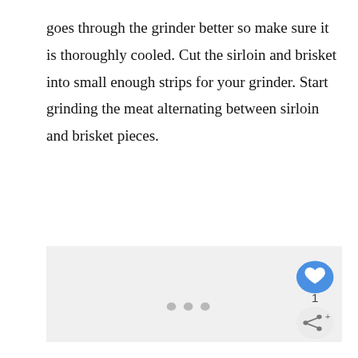goes through the grinder better so make sure it is thoroughly cooled. Cut the sirloin and brisket into small enough strips for your grinder. Start grinding the meat alternating between sirloin and brisket pieces.
[Figure (other): A large light gray placeholder image area with three gray dots centered near the bottom, and UI buttons (heart/like button in blue, a count of 1, and a share button) in the lower right corner.]